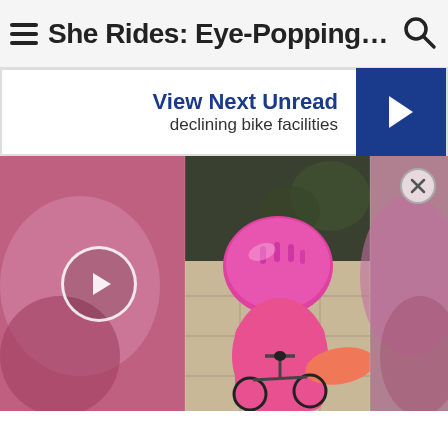She Rides: Eye-Popping AR View
View Next Unread
declining bike facilities
[Figure (screenshot): Video thumbnail showing a young child wearing a pink helmet and pink outfit riding a small bicycle on a sidewalk. A play button is overlaid on the left side of the image. A close (X) button is in the upper right corner.]